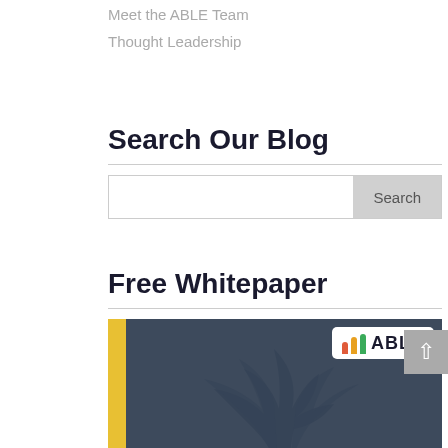Meet the ABLE Team
Thought Leadership
Search Our Blog
Free Whitepaper
[Figure (logo): ABLE whitepaper promotional image with dark blue background, plant illustration, ABLE logo with colored bars in top right corner, and 'INSIGHTS' text at bottom]